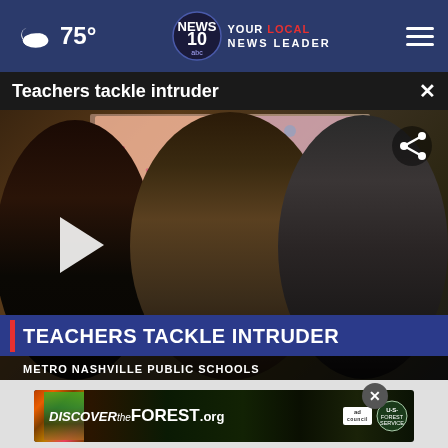75° NEWS 10 ABC YOUR LOCAL NEWS LEADER
Teachers tackle intruder
[Figure (screenshot): Video thumbnail showing three women teachers standing together in a classroom. Lower thirds overlay reads 'TEACHERS TACKLE INTRUDER' and 'METRO NASHVILLE PUBLIC SCHOOLS'. Play button visible on left. Share icon in top right.]
[Figure (screenshot): Advertisement banner for DiscoverTheForest.org featuring Ad Council and US Forest Service logos]